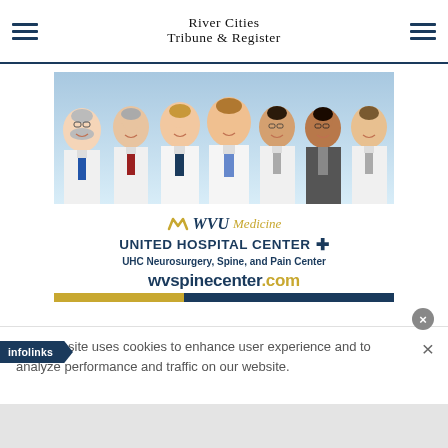River Cities Tribune & Register
[Figure (illustration): Advertisement for WVU Medicine United Hospital Center featuring group photo of seven doctors/surgeons in white coats with blue background, followed by WVU Medicine logo, United Hospital Center name with cross symbol, UHC Neurosurgery Spine and Pain Center text, wvspinecenter.com website, and gold/navy decorative bar]
This website uses cookies to enhance user experience and to analyze performance and traffic on our website.